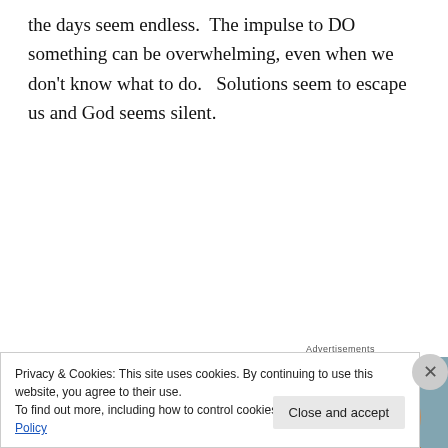the days seem endless.  The impulse to DO something can be overwhelming, even when we don't know what to do.   Solutions seem to escape us and God seems silent.
[Figure (infographic): Advertisement banner for WordPress Hosting showing a smiling woman holding an OPEN sign on the left, and on the right a dark blue background with a P logo and text: WORDPRESS HOSTING THAT MEANS BUSINESS.]
Privacy & Cookies: This site uses cookies. By continuing to use this website, you agree to their use.
To find out more, including how to control cookies, see here: Cookie Policy